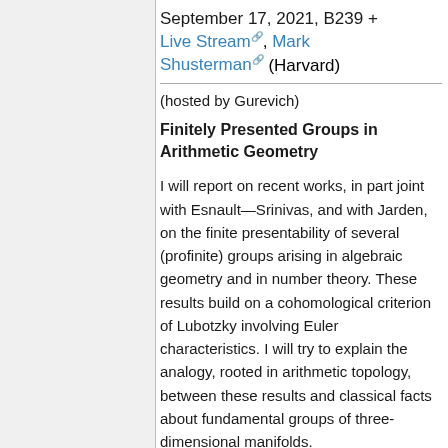September 17, 2021, B239 + Live Stream, Mark Shusterman (Harvard)
(hosted by Gurevich)
Finitely Presented Groups in Arithmetic Geometry
I will report on recent works, in part joint with Esnault—Srinivas, and with Jarden, on the finite presentability of several (profinite) groups arising in algebraic geometry and in number theory. These results build on a cohomological criterion of Lubotzky involving Euler characteristics. I will try to explain the analogy, rooted in arithmetic topology, between these results and classical facts about fundamental groups of three-dimensional manifolds.